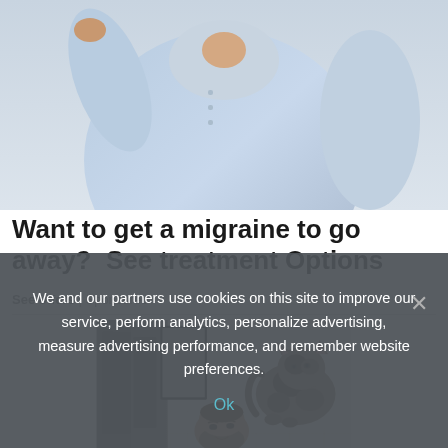[Figure (photo): Person in light blue button-up shirt, partially visible torso and arms, appears to be stretching or in motion, against a light background]
Want to get a migraine to go away?  See treatment Options
See offers | Sponsored
[Figure (photo): A cat sitting on a bathroom counter or ledge looking down at a bearded man's reflection in a bathroom mirror, white tile wall in background]
We and our partners use cookies on this site to improve our service, perform analytics, personalize advertising, measure advertising performance, and remember website preferences.
Ok